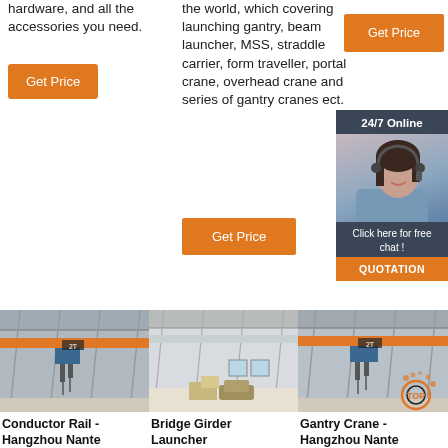hardware, and all the accessories you need.
[Figure (other): Orange 'Get Price' button (left column)]
the world, which covering launching gantry, beam launcher, MSS, straddle carrier, form traveller, portal crane, overhead crane and series of gantry cranes ect.
[Figure (other): Orange 'Get Price' button (right panel top)]
[Figure (other): Orange 'Get Price' button (center column)]
[Figure (photo): 24/7 Online chat widget with woman wearing headset, dark background, 'Click here for free chat!' text, and orange QUOTATION button]
[Figure (photo): Industrial overhead crane inside warehouse, yellow/orange crane visible with '2T' marking]
[Figure (photo): Interior of large industrial warehouse with boxes/equipment on floor]
[Figure (photo): Industrial overhead crane inside warehouse, yellow crane with '2T' marking, TOP logo visible]
Conductor Rail - Hangzhou Nante
Bridge Girder Launcher
Gantry Crane - Hangzhou Nante